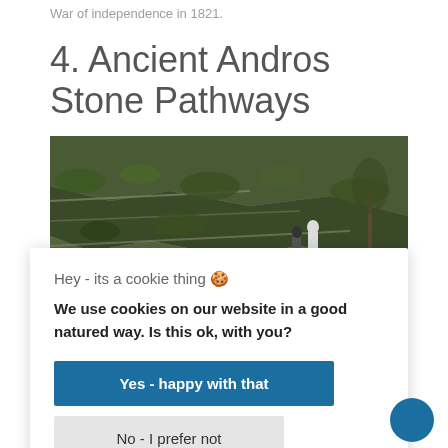War of independence in 1821.
4. Ancient Andros Stone Pathways
[Figure (photo): Two people running along an ancient stone path on a terraced hillside on Andros island, surrounded by green vegetation and rocky terrain.]
...ving ancient stone pathways stretching across the island. These
Hey - its a cookie thing 🍪
We use cookies on our website in a good natured way. Is this ok, with you?
Yes - happy with that
No - I prefer not